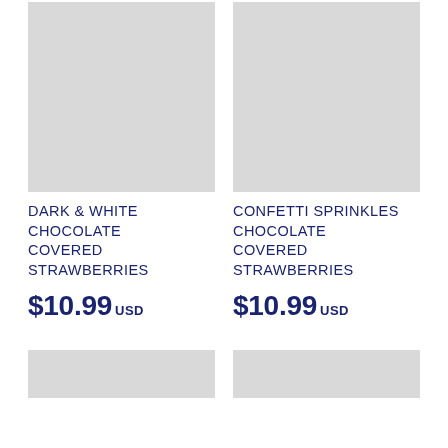[Figure (photo): Product image placeholder for Dark & White Chocolate Covered Strawberries (gray rectangle)]
[Figure (photo): Product image placeholder for Confetti Sprinkles Chocolate Covered Strawberries (gray rectangle)]
DARK & WHITE CHOCOLATE COVERED STRAWBERRIES
$10.99 USD
CONFETTI SPRINKLES CHOCOLATE COVERED STRAWBERRIES
$10.99 USD
[Figure (photo): Partial product image placeholder bottom left (gray rectangle)]
[Figure (photo): Partial product image placeholder bottom right (gray rectangle)]